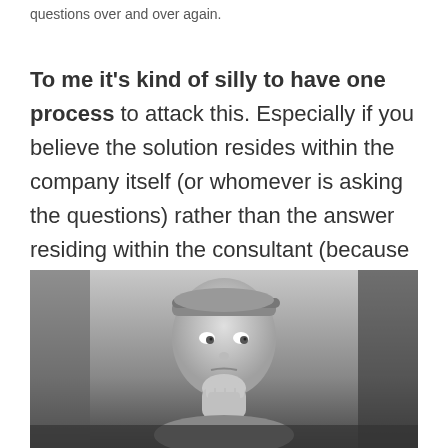questions over and over again.
To me it's kind of silly to have one process to attack this. Especially if you believe the solution resides within the company itself (or whomever is asking the questions) rather than the answer residing within the consultant (because the answer never is there by the way).
[Figure (photo): Black and white photograph of a young boy with a thoughtful or concerned expression, hand near his chin, looking slightly downward.]